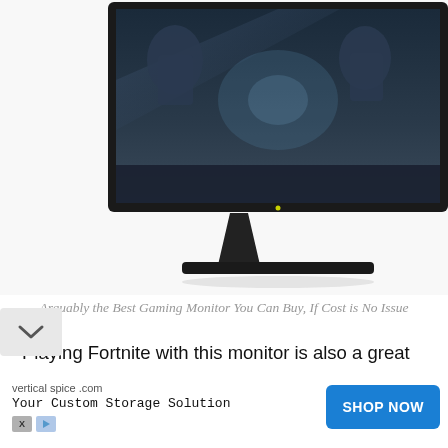[Figure (photo): A gaming monitor (Samsung or similar) shown from a slightly elevated angle, displaying a futuristic game scene. The monitor has a black bezel and a sleek stand.]
Arguably the Best Gaming Monitor You Can Buy, If Cost is No Issue
Playing Fortnite with this monitor is also a great experience thanks to a few other key features. Many are not listed as the flashiest within the specs. For example, the brightness levels can be tweaked to the most minute details. This gives you brightness levels that feel like you're being transported into a whole new world. It is truly amazing how far gaming display technology has advanced. This monitor is just the proof w
[Figure (infographic): Advertisement banner: verticalspice.com — Your Custom Storage Solution — SHOP NOW button in blue.]